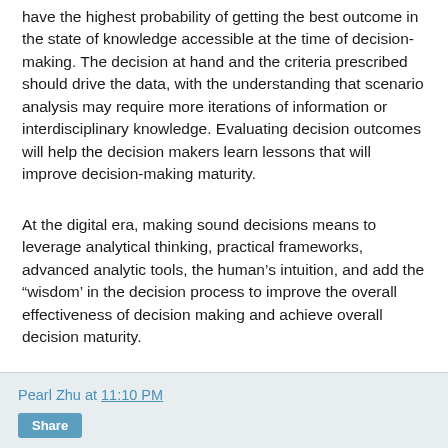have the highest probability of getting the best outcome in the state of knowledge accessible at the time of decision-making. The decision at hand and the criteria prescribed should drive the data, with the understanding that scenario analysis may require more iterations of information or interdisciplinary knowledge. Evaluating decision outcomes will help the decision makers learn lessons that will improve decision-making maturity.
At the digital era, making sound decisions means to leverage analytical thinking, practical frameworks, advanced analytic tools, the human’s intuition, and add the “wisdom’ in the decision process to improve the overall effectiveness of decision making and achieve overall decision maturity.
Pearl Zhu at 11:10 PM